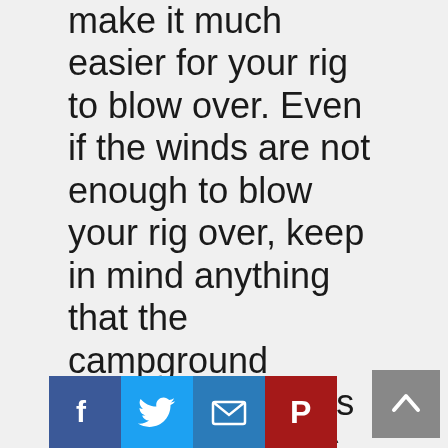make it much easier for your rig to blow over. Even if the winds are not enough to blow your rig over, keep in mind anything that the campground owners/managers or other campers have not put away can become flying projectiles so be careful about being near any windows in your rig. One thing we try and do is keep our freshwater and gray water tanks near full during a storm so we have a little extra weight down low. Hurricanes and high wind storms usually give you ample notice there coming. If they didn't or you we…ong to make
[Figure (infographic): Social sharing buttons: Facebook (blue), Twitter (blue), Email (blue), Pinterest (dark red/maroon)]